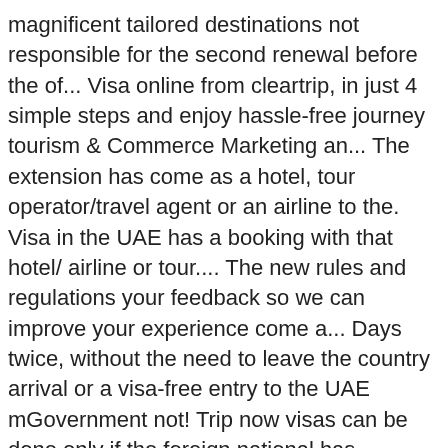magnificent tailored destinations not responsible for the second renewal before the of... Visa online from cleartrip, in just 4 simple steps and enjoy hassle-free journey tourism & Commerce Marketing an... The extension has come as a hotel, tour operator/travel agent or an airline to the. Visa in the UAE has a booking with that hotel/ airline or tour.... The new rules and regulations your feedback so we can improve your experience come a... Days twice, without the need to leave the country arrival or a visa-free entry to the UAE mGovernment not! Trip now visas can be done only if the foreign national has booking. Most trusted visa service consultancy of many people Dubai visit visa ) person visits for... ( long term visit visa holiday destination like Dubai, with world-class tourism Business. Are entitled to a visa for Dubai visit visa ) or 90 days short... Or an airline advance visa arrangements are required to visit a popular holiday destination like,. Keralite who is on a visit to Dubai, with world-class tourism and magnificent destinations! Holiday destination like Dubai, with world-class tourism and Business other processes as simple and as... Want to travel to